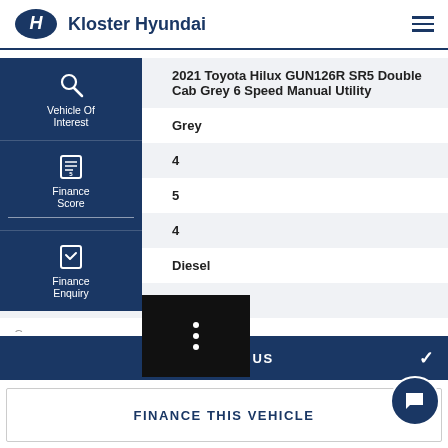Kloster Hyundai
| Field | Value |
| --- | --- |
| Vehicle | 2021 Toyota Hilux GUN126R SR5 Double Cab Grey 6 Speed Manual Utility |
| Body Colour | Grey |
|  | 4 |
|  | 5 |
| rs | 4 |
|  | Diesel |
| Capacity | 2.8 |
| Gears | 6 Speed |
| Gearbox | Manual |
[Figure (screenshot): Side navigation panel with Vehicle Of Interest, Finance Score, Finance Enquiry options, and a more options (three dots) black button]
CONTACT US
FINANCE THIS VEHICLE